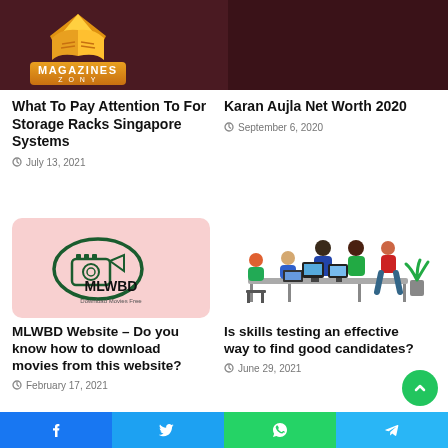[Figure (logo): Magazines Zone logo with open book/crown icon in gold/orange on dark red background]
What To Pay Attention To For Storage Racks Singapore Systems
July 13, 2021
Karan Aujla Net Worth 2020
September 6, 2020
[Figure (logo): MLWBD logo with movie camera icon in dark green circle on pink background, text: MLWBD Download Movies Free]
[Figure (illustration): Illustration of diverse group of people working around a table with laptops and monitors]
MLWBD Website – Do you know how to download movies from this website?
February 17, 2021
Is skills testing an effective way to find good candidates?
June 29, 2021
[Figure (other): Social media share bar: Facebook, Twitter, WhatsApp, Telegram buttons]